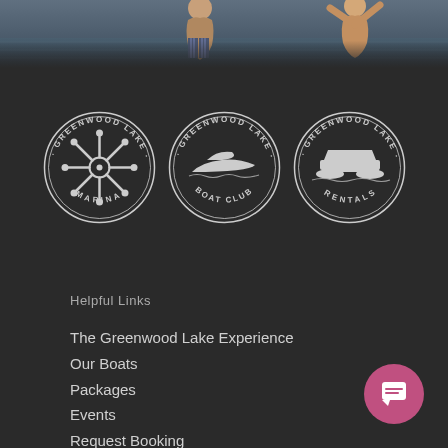[Figure (photo): Dark header photo strip showing people near water, partially visible]
[Figure (logo): Three circular Greenwood Lake logos side by side: Greenwood Lake Marina (ship wheel), Greenwood Lake Boat Club (speedboat), Greenwood Lake Rentals (pontoon boat) — white on dark background]
Helpful Links
The Greenwood Lake Experience
Our Boats
Packages
Events
Request Booking
Contact
Cancellation Policy
Privacy Policy